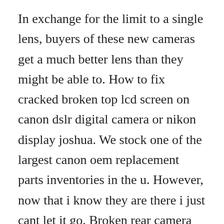In exchange for the limit to a single lens, buyers of these new cameras get a much better lens than they might be able to. How to fix cracked broken top lcd screen on canon dslr digital camera or nikon display joshua. We stock one of the largest canon oem replacement parts inventories in the u. However, now that i know they are there i just cant let it go. Broken rear camera glass s20 ultra samsung community 1154527.
They are usually a fairly general purpose lens designed for everyday shooting. Samung s20